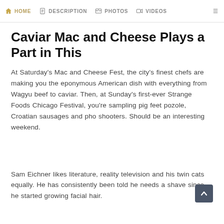HOME   DESCRIPTION   PHOTOS   VIDEOS
Caviar Mac and Cheese Plays a Part in This
At Saturday's Mac and Cheese Fest, the city's finest chefs are making you the eponymous American dish with everything from Wagyu beef to caviar. Then, at Sunday's first-ever Strange Foods Chicago Festival, you're sampling pig feet pozole, Croatian sausages and pho shooters. Should be an interesting weekend.
Sam Eichner likes literature, reality television and his twin cats equally. He has consistently been told he needs a shave since he started growing facial hair.